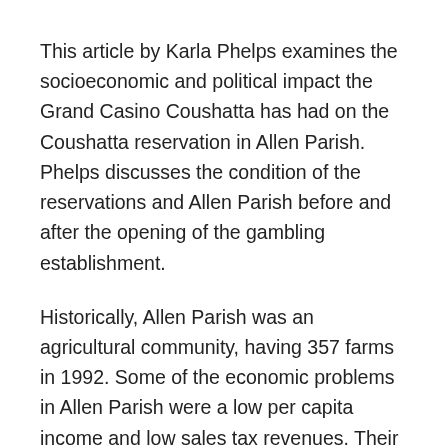This article by Karla Phelps examines the socioeconomic and political impact the Grand Casino Coushatta has had on the Coushatta reservation in Allen Parish. Phelps discusses the condition of the reservations and Allen Parish before and after the opening of the gambling establishment.
Historically, Allen Parish was an agricultural community, having 357 farms in 1992. Some of the economic problems in Allen Parish were a low per capita income and low sales tax revenues. Their infrastructure was in poor condition and they had no revenues to repair the infrastructure. Allen Parish had little industry and no Belt- mesh Road connecting Allen Parish to the outside world. Allen Parish had no bank loans and their educational facilities were limited to the poorest of the poor. Allen Parish had no public library and they...